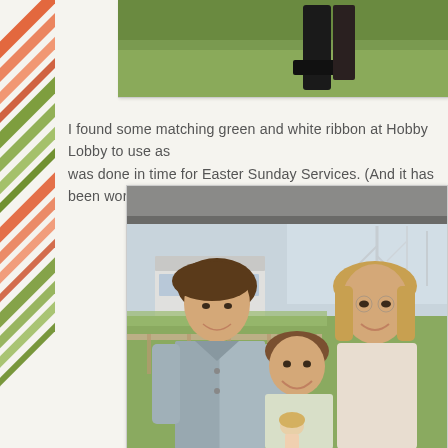[Figure (photo): Partial top photo showing green grass and a dark object, cropped at top of page]
I found some matching green and white ribbon at Hobby Lobby to use as was done in time for Easter Sunday Services. (And it has been worn mu
[Figure (photo): Outdoor photo of three people: a teenage girl with short brown hair in a denim jacket on the left, a woman with blonde/light brown hair on the right, and a young child in front. They are standing under a porch/overhang with a white RV and bare trees visible in the background.]